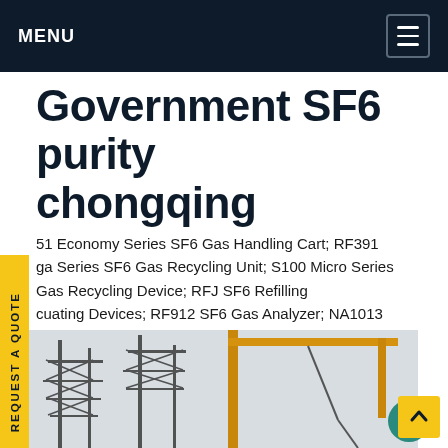MENU
Government SF6 purity chongqing
51 Economy Series SF6 Gas Handling Cart; RF391 ga Series SF6 Gas Recycling Unit; S100 Micro Series Gas Recycling Device; RFJ SF6 Refilling cuating Devices; RF912 SF6 Gas Analyzer; NA1013 Gas Monitoring System; RSSSF6 Smart SF6 sor; RF300N SF6 Service Cart; SF6 Gas Purification re-use System; Our Client; Connect usGet price
[Figure (photo): Industrial scene with electrical power transmission tower structures and a yellow crane against a light sky background]